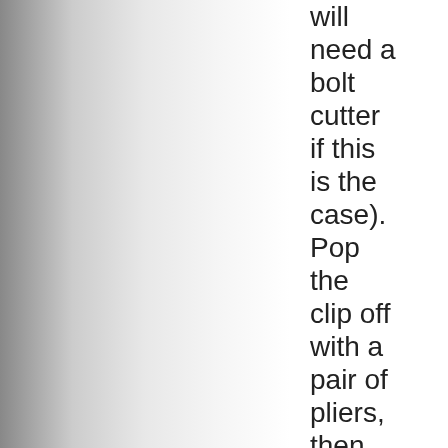will need a bolt cutter if this is the case). Pop the clip off with a pair of pliers, then slide out the link and the securing plate. Did I mention the risk of getting